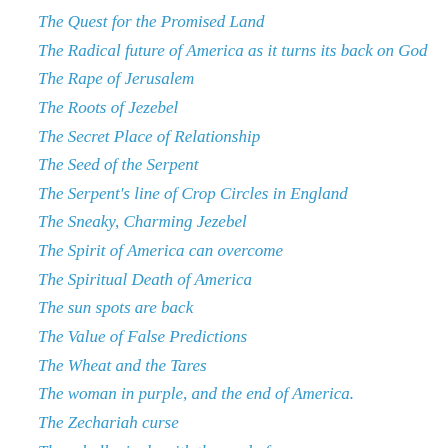The Quest for the Promised Land
The Radical future of America as it turns its back on God
The Rape of Jerusalem
The Roots of Jezebel
The Secret Place of Relationship
The Seed of the Serpent
The Serpent's line of Crop Circles in England
The Sneaky, Charming Jezebel
The Spirit of America can overcome
The Spiritual Death of America
The sun spots are back
The Value of False Predictions
The Wheat and the Tares
The woman in purple, and the end of America.
The Zechariah curse
They shall mingle with the seed of men
Third Cry from South Africa
Third Day – so, when is it?
Third Temple being built
This Is the Government that the Democrats Will Usher In After a Coup